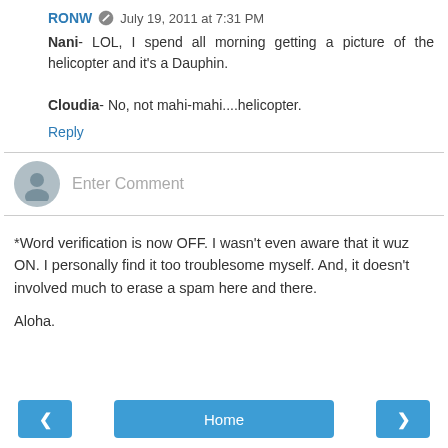RONW [icon] July 19, 2011 at 7:31 PM
Nani- LOL, I spend all morning getting a picture of the helicopter and it's a Dauphin.

Cloudia- No, not mahi-mahi....helicopter.
Reply
[Figure (other): Enter Comment input field with avatar icon]
*Word verification is now OFF. I wasn't even aware that it wuz ON. I personally find it too troublesome myself. And, it doesn't involved much to erase a spam here and there.
Aloha.
< | Home | >